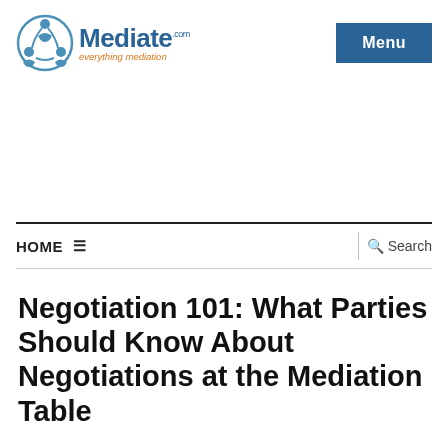[Figure (logo): Mediate.com logo with circular icon and tagline 'everything mediation' in orange italic]
Menu
HOME ☰   Search
Negotiation 101: What Parties Should Know About Negotiations at the Mediation Table